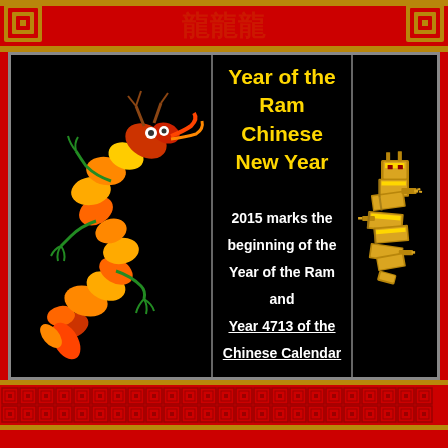[Figure (illustration): Red decorative border with Chinese pattern at top of page]
[Figure (illustration): Colorful pixel-art Chinese dragon in orange, yellow, red and green colors on black background]
Year of the Ram Chinese New Year
2015 marks the beginning of the Year of the Ram and Year 4713 of the Chinese Calendar
[Figure (illustration): Gold 3D rendered Chinese dragon on black background]
[Figure (illustration): Red decorative border with Chinese meander pattern at bottom of page]